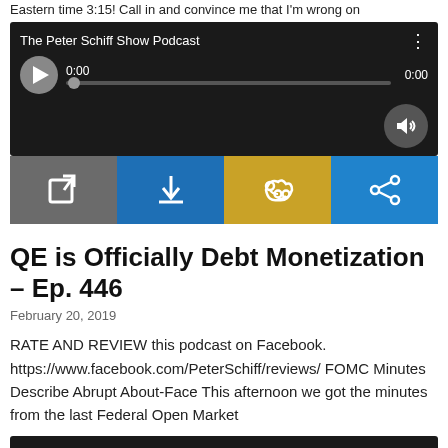Eastern time 3:15! Call in and convince me that I'm wrong on
[Figure (screenshot): Podcast player widget for 'The Peter Schiff Show Podcast' showing play button, 0:00 progress bar, 0:00 duration, volume button, and four action buttons (open, download, RSS, share) in gray, blue, gold, and blue colors.]
QE is Officially Debt Monetization – Ep. 446
February 20, 2019
RATE AND REVIEW this podcast on Facebook. https://www.facebook.com/PeterSchiff/reviews/ FOMC Minutes Describe Abrupt About-Face This afternoon we got the minutes from the last Federal Open Market
[Figure (screenshot): Second podcast player widget for 'The Peter Schiff Show Podcast' showing play button, 0:00 progress bar, 0:00 duration, and volume button, partially visible at bottom of page.]